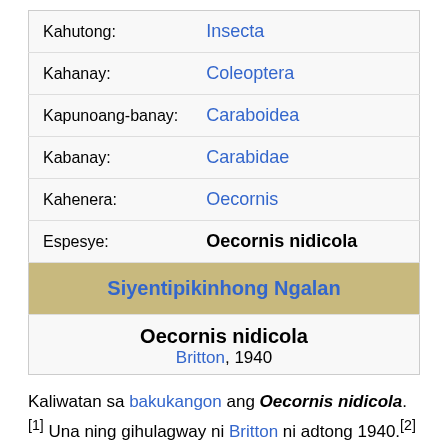| Label | Value |
| --- | --- |
| Kahutong: | Insecta |
| Kahanay: | Coleoptera |
| Kapunoang-banay: | Caraboidea |
| Kabanay: | Carabidae |
| Kahenera: | Oecornis |
| Espesye: | Oecornis nidicola |
| Siyentipikinhong Ngalan |  |
| Oecornis nidicola | Britton, 1940 |
Kaliwatan sa bakukangon ang Oecornis nidicola.[1] Una ning gihulagway ni Britton ni adtong 1940.[2] Ang Oecornis nidicola...